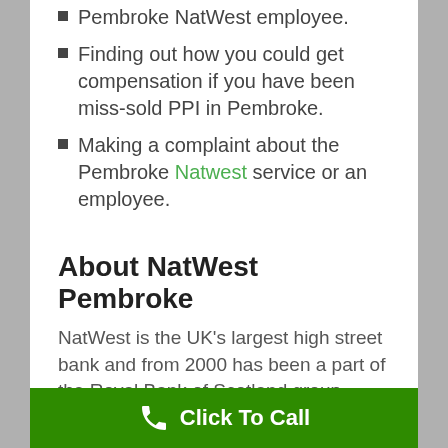Pembroke NatWest employee.
Finding out how you could get compensation if you have been miss-sold PPI in Pembroke.
Making a complaint about the Pembroke Natwest service or an employee.
About NatWest Pembroke
NatWest is the UK's largest high street bank and from 2000 has been a part of the Royal Bank of Scotland group, which itself is one of
Click To Call